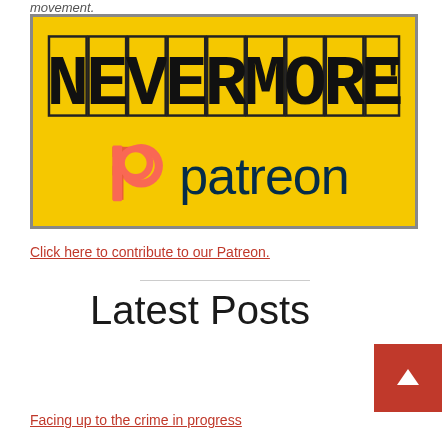movement.
[Figure (logo): Yellow banner image with NEVERMORE! text in blocky stamp/typewriter style at top, and Patreon logo (orange P icon) with 'patreon' word in dark teal below, all on bright yellow background with dark border.]
Click here to contribute to our Patreon.
Latest Posts
Facing up to the crime in progress